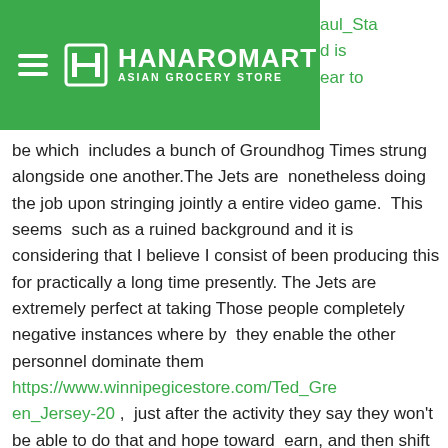[Figure (logo): Hanaromart Asian Grocery Store logo — white text and icon on green background, with hamburger menu icon on left]
aul_Sta
d is
ear to
be which  includes a bunch of Groundhog Times strung alongside one another.The Jets are  nonetheless doing the job upon stringing jointly a entire video game.  This seems  such as a ruined background and it is considering that I believe I consist of been producing this for practically a long time presently. The Jets are  extremely perfect at taking Those people completely negative instances where by  they enable the other personnel dominate them https://www.winnipegicestore.com/Ted_Green_Jersey-20 ,  just after the activity they say they won't be able to do that and hope toward  earn, and then shift out and do it back again the upcoming video game. It feels  including decades due to the fact they comprise place with each other a detailed  match.The Jets just misplaced